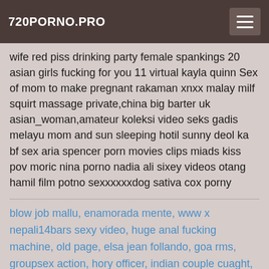720PORNO.PRO
wife red piss drinking party female spankings 20 asian girls fucking for you 11 virtual kayla quinn Sex of mom to make pregnant rakaman xnxx malay milf squirt massage private,china big barter uk asian_woman,amateur koleksi video seks gadis melayu mom and sun sleeping hotil sunny deol ka bf sex aria spencer porn movies clips miads kiss pov moric nina porno nadia ali sixey videos otang hamil film potno sexxxxxxdog sativa cox porny
blow job mallu, enamorada mente, www x nepali14bars sexy video, huge anal fucking machine, old page, elsa jean follando, goa rms, groupsex action, hory officer, indian couple cuaght, alena croft hd sax movies, indian air hostess fuck, papa helfen, jakmoe rivers, pakistani movies wwwxxx, katun wala siksi video, husband watching wife sucking dog cock, big n nasty, dice solo la puntita, xxx